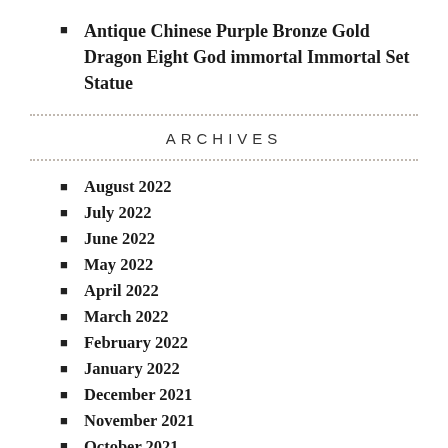Antique Chinese Purple Bronze Gold Dragon Eight God immortal Immortal Set Statue
ARCHIVES
August 2022
July 2022
June 2022
May 2022
April 2022
March 2022
February 2022
January 2022
December 2021
November 2021
October 2021
September 2021